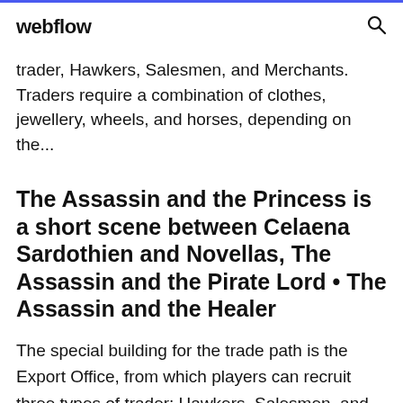webflow
trader, Hawkers, Salesmen, and Merchants. Traders require a combination of clothes, jewellery, wheels, and horses, depending on the...
The Assassin and the Princess is a short scene between Celaena Sardothien and Novellas, The Assassin and the Pirate Lord • The Assassin and the Healer
The special building for the trade path is the Export Office, from which players can recruit three types of trader: Hawkers, Salesmen, and